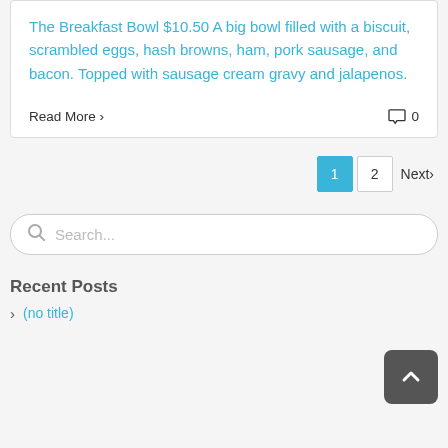The Breakfast Bowl $10.50 A big bowl filled with a biscuit, scrambled eggs, hash browns, ham, pork sausage, and bacon. Topped with sausage cream gravy and jalapenos.
Read More
0
1  2  Next
Search...
Recent Posts
(no title)